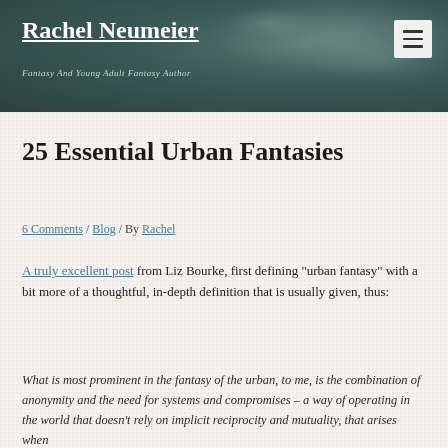Rachel Neumeier — Fantasy And Young Adult Fantasy Author
25 Essential Urban Fantasies
6 Comments / Blog / By Rachel
A truly excellent post from Liz Bourke, first defining "urban fantasy" with a bit more of a thoughtful, in-depth definition that is usually given, thus:
What is most prominent in the fantasy of the urban, to me, is the combination of anonymity and the need for systems and compromises – a way of operating in the world that doesn't rely on implicit reciprocity and mutuality, that arises when